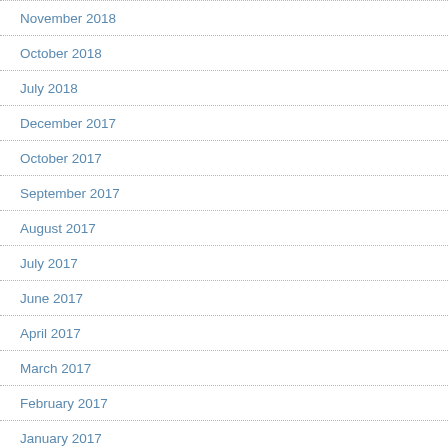November 2018
October 2018
July 2018
December 2017
October 2017
September 2017
August 2017
July 2017
June 2017
April 2017
March 2017
February 2017
January 2017
December 2016